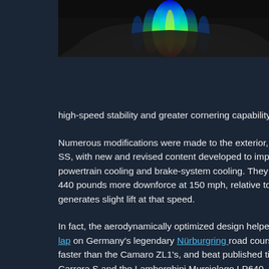[Figure (photo): A dark sports car (Camaro Z/28) viewed from the rear/underside with a CFD heat-map aerodynamics visualization showing airflow in flame colors (blue, cyan, green, yellow, orange, red) emanating from beneath the vehicle.]
vehicles, gene downforce like car to press th against the tra
high-speed stability and greater cornering capability.
Numerous modifications were made to the exterior, compared to the SS, with new and revised content developed to improve aerodynamics, powertrain cooling and brake-system cooling. They help the Z/28 produce 440 pounds more downforce at 150 mph, relative to the SS, which generates slight lift at that speed.
In fact, the aerodynamically optimized design helped the Camaro Z [link] lap on Germany's legendary Nürburgring road course that was found faster than the Camaro ZL1's, and beat published times for the Porsche Carrera S and the Lamborghini Murcielago LP640.
“Most production cars are designed with some lift at speed in order to slice through the air for greater fuel economy, but the all-new Camaro Z/28’s track-oriented purpose dictated an entirely different take on airflow management,” said Tom Froling, lead development engineer —